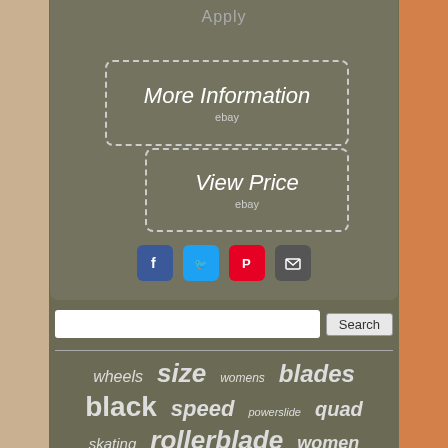Apply
[Figure (screenshot): More Information button with dashed border and ebay label]
[Figure (screenshot): View Price button with dashed border and ebay label]
[Figure (infographic): Social sharing icons: Facebook, Twitter, Pinterest, Email]
[Figure (photo): Roller skate wheels photo strip in background]
Search
wheels  size  womens  blades  black  speed  powerslide  quad  skating  rollerblade  women